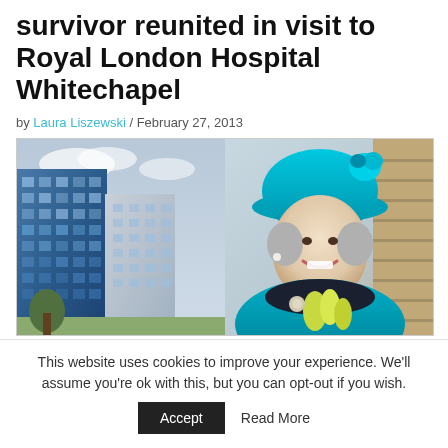survivor reunited in visit to Royal London Hospital Whitechapel
by Laura Liszewski / February 27, 2013
[Figure (photo): Two-photo collage: left shows Royal London Hospital Whitechapel exterior (modern blue glass facade); right shows Queen Elizabeth II smiling, wearing a teal/turquoise hat and coat, holding yellow flowers.]
This website uses cookies to improve your experience. We'll assume you're ok with this, but you can opt-out if you wish.
Accept   Read More